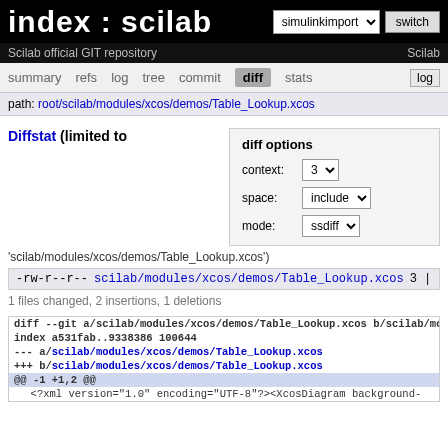index : scilab
Scilab official GIT repository   Scilab
summary  refs  log  tree  commit  diff  stats  log
path: root/scilab/modules/xcos/demos/Table_Lookup.xcos
Diffstat (limited to
diff options
context: 3
space: include
mode: ssdiff
'scilab/modules/xcos/demos/Table_Lookup.xcos')
-rw-r--r-- scilab/modules/xcos/demos/Table_Lookup.xcos 3 |
1 files changed, 2 insertions, 1 deletions
diff --git a/scilab/modules/xcos/demos/Table_Lookup.xcos b/scilab/mod...
index a531fab..9338386 100644
--- a/scilab/modules/xcos/demos/Table_Lookup.xcos
+++ b/scilab/modules/xcos/demos/Table_Lookup.xcos
@@ -1 +1,2 @@
   <?xml version="1.0" encoding="UTF-8"?><XcosDiagram background-